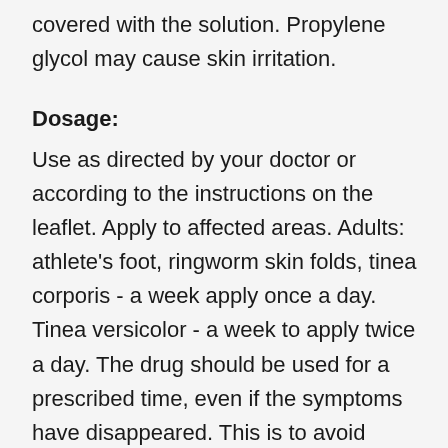covered with the solution. Propylene glycol may cause skin irritation.
Dosage:
Use as directed by your doctor or according to the instructions on the leaflet. Apply to affected areas. Adults: athlete's foot, ringworm skin folds, tinea corporis - a week apply once a day. Tinea versicolor - a week to apply twice a day. The drug should be used for a prescribed time, even if the symptoms have disappeared. This is to avoid relapse. Before using, wash and dry hands, as well as the affected place and the surrounding skin. Spray directly on the portion of the diseased and the surrounding area. The drug must cover the place with a thin layer. Wipe off excess